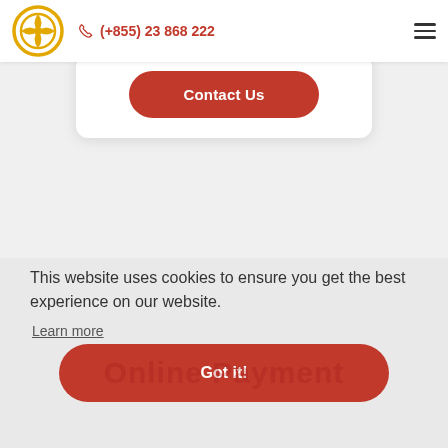(+855) 23 868 222
[Figure (infographic): Contact Us button (red rounded rectangle) inside a white card]
This website uses cookies to ensure you get the best experience on our website.
Learn more
Got it!
Online Payment